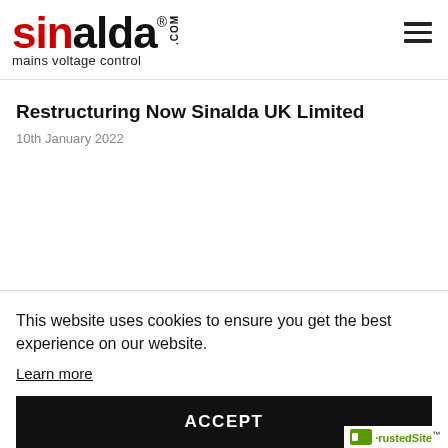[Figure (logo): Sinalda.com logo with red 'sin' and black 'alda' text, registered trademark symbol, '.COM' vertical text, and tagline 'mains voltage control']
Restructuring Now Sinalda UK Limited
10th January 2022
This website uses cookies to ensure you get the best experience on our website.
Learn more
ACCEPT